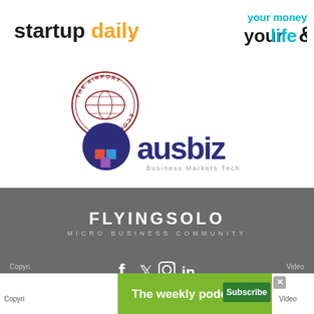[Figure (logo): Startup Daily logo — 'startup' in bold black, 'daily.' in orange]
[Figure (logo): Your Money Your Life logo — 'your money' in cyan, 'your life &' in black and cyan]
[Figure (logo): The Airport Economist circular stamp logo in dark red]
[Figure (logo): Ausbiz logo — circular purple icon and bold dark blue 'ausbiz' text with tagline 'Business Markets Tech']
[Figure (logo): Flying Solo Micro Business Community logo in white on dark grey background with social media icons]
[Figure (other): Podcast banner ad: 'The weekly podcast' in white on green background with paper plane icon and Subscribe button]